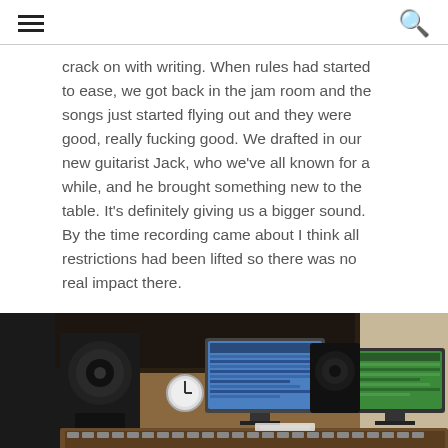crack on with writing. When rules had started to ease, we got back in the jam room and the songs just started flying out and they were good, really fucking good. We drafted in our new guitarist Jack, who we've all known for a while, and he brought something new to the table. It's definitely giving us a bigger sound. By the time recording came about I think all restrictions had been lifted so there was no real impact there.
[Figure (photo): Recording studio mixing console with large fader board, two computer monitors showing audio software, studio monitor speakers, and acoustic foam paneling in the background.]